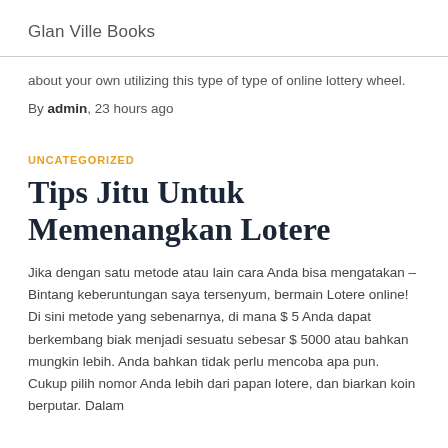Glan Ville Books
about your own utilizing this type of type of online lottery wheel.
By admin, 23 hours ago
UNCATEGORIZED
Tips Jitu Untuk Memenangkan Lotere
Jika dengan satu metode atau lain cara Anda bisa mengatakan – Bintang keberuntungan saya tersenyum, bermain Lotere online! Di sini metode yang sebenarnya, di mana $ 5 Anda dapat berkembang biak menjadi sesuatu sebesar $ 5000 atau bahkan mungkin lebih. Anda bahkan tidak perlu mencoba apa pun. Cukup pilih nomor Anda lebih dari papan lotere, dan biarkan koin berputar. Dalam